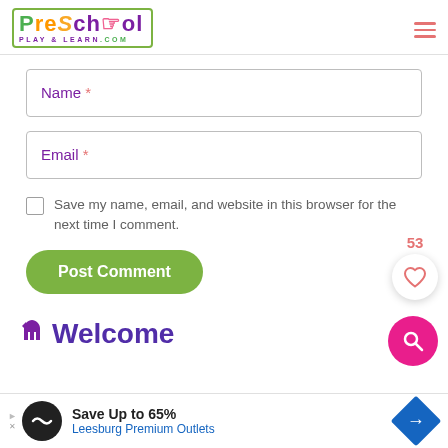[Figure (logo): PreSchool Play & Learn .com logo with colorful letters and hand icon, green border box]
Name *
Email *
Save my name, email, and website in this browser for the next time I comment.
Post Comment
53
Welcome
Save Up to 65% Leesburg Premium Outlets